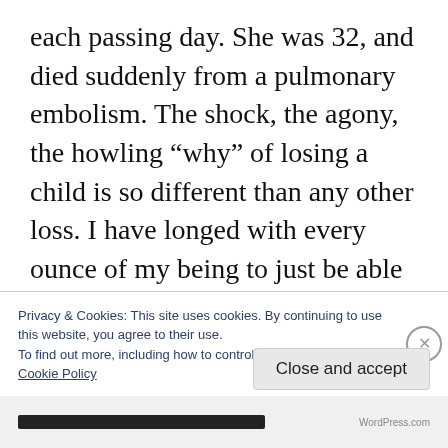each passing day. She was 32, and died suddenly from a pulmonary embolism. The shock, the agony, the howling “why” of losing a child is so different than any other loss. I have longed with every ounce of my being to just be able to trade places with her. I would gladly give my life for her if I could — There is so much to experience in this world that she will never get to know. She was always the one who opened my eyes to the beauty all around me: dragging me out of the house just to look
Privacy & Cookies: This site uses cookies. By continuing to use this website, you agree to their use.
To find out more, including how to control cookies, see here:
Cookie Policy
Close and accept